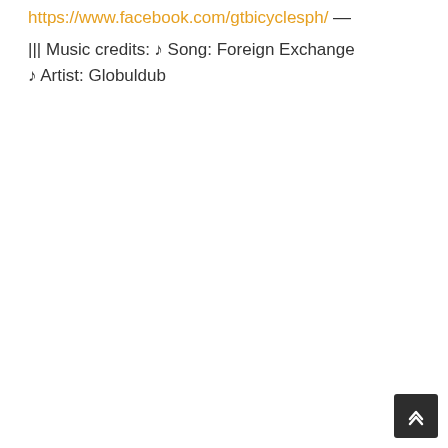https://www.facebook.com/gtbicyclesph/
—
||| Music credits:
♩ Song: Foreign Exchange
♩ Artist: Globuldub